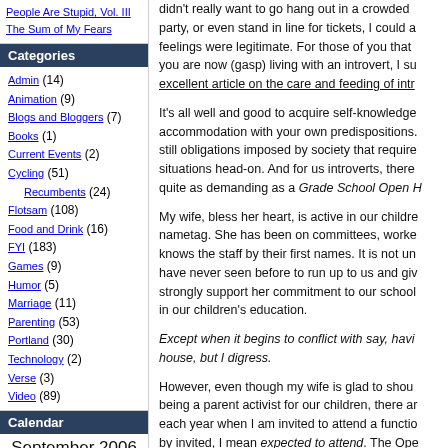People Are Stupid, Vol. III
The Sum of My Fears
Categories
Admin (14)
Animation (9)
Blogs and Bloggers (7)
Books (1)
Current Events (2)
Cycling (51)
Recumbents (24)
Flotsam (108)
Food and Drink (16)
FYI (183)
Games (9)
Humor (5)
Marriage (11)
Parenting (53)
Portland (30)
Technology (2)
Verse (3)
Video (89)
Calendar
September 2006
didn't really want to go hang out in a crowded party, or even stand in line for tickets, I could a feelings were legitimate. For those of you that you are now (gasp) living with an introvert, I su excellent article on the care and feeding of intr
It's all well and good to acquire self-knowledge accommodation with your own predispositions. still obligations imposed by society that require situations head-on. And for us introverts, there quite as demanding as a Grade School Open H
My wife, bless her heart, is active in our childre nametag. She has been on committees, worke knows the staff by their first names. It is not un have never seen before to run up to us and giv strongly support her commitment to our school in our children's education.
Except when it begins to conflict with say, havi house, but I digress.
However, even though my wife is glad to shou being a parent activist for our children, there ar each year when I am invited to attend a functio by invited, I mean expected to attend. The Ope beginning of each school year is such an even
I believe that It Takes a Village to raise a child, acknowledge that this school is Our Village. I th